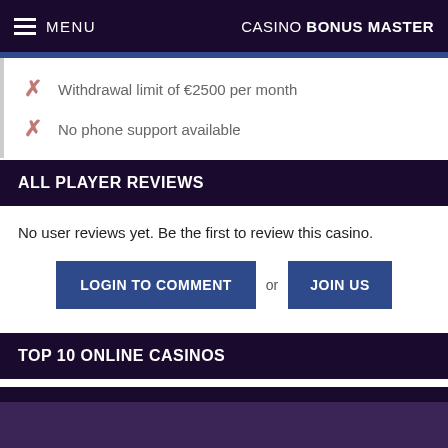MENU  CASINO BONUS MASTER
Withdrawal limit of €2500 per month
No phone support available
ALL PLAYER REVIEWS
No user reviews yet. Be the first to review this casino.
LOGIN TO COMMENT  or  JOIN US
TOP 10 ONLINE CASINOS
RECENTLY ADDED